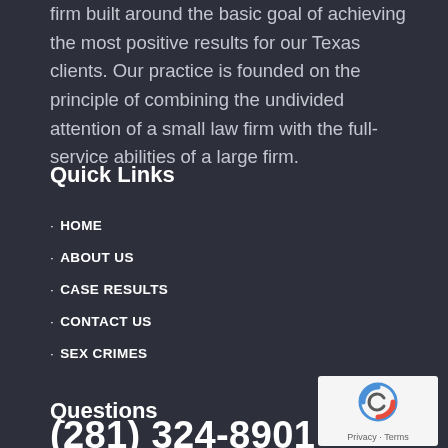firm built around the basic goal of achieving the most positive results for our Texas clients. Our practice is founded on the principle of combining the undivided attention of a small law firm with the full-service abilities of a large firm.
Quick Links
HOME
ABOUT US
CASE RESULTS
CONTACT US
SEX CRIMES
Questions
(281) 324-8901
[Figure (logo): reCAPTCHA badge with spinning arrows logo and Privacy - Terms text]